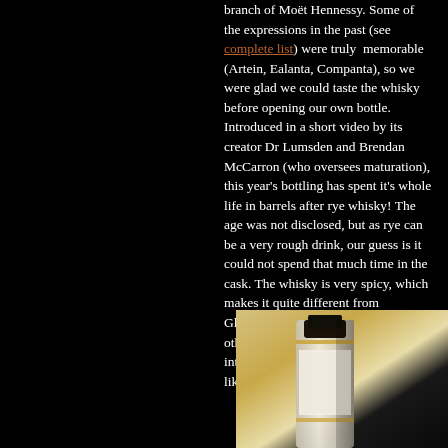branch of Moët Hennessy. Some of the expressions in the past (see complete list) were truly memorable (Artein, Ealanta, Companta), so we were glad we could taste the whisky before opening our own bottle. Introduced in a short video by its creator Dr Lumsden and Brendan McCarron (who oversees maturation), this year's bottling has spent it's whole life in barrels after rye whisky! The age was not disclosed, but as rye can be a very rough drink, our guess is it could not spend that much time in the cask. The whisky is very spicy, which makes it quite different from Glenmorangie's core range and from other botlles on the market. Another interesting maturation experiment, we like it due to its unique spiciness.
[Figure (photo): Photograph of a whisky bottle, partially visible, with gold/amber coloring and a dark cap against a light background]